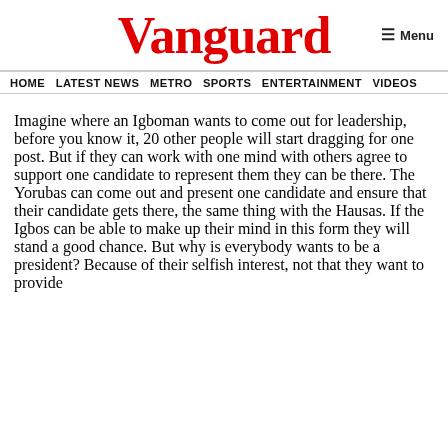Vanguard
HOME  LATEST NEWS  METRO  SPORTS  ENTERTAINMENT  VIDEOS
Imagine where an Igboman wants to come out for leadership, before you know it, 20 other people will start dragging for one post. But if they can work with one mind with others agree to support one candidate to represent them they can be there. The Yorubas can come out and present one candidate and ensure that their candidate gets there, the same thing with the Hausas. If the Igbos can be able to make up their mind in this form they will stand a good chance. But why is everybody wants to be a president? Because of their selfish interest, not that they want to provide